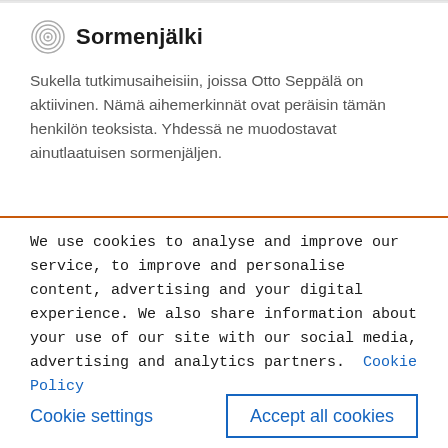Sormenjälki
Sukella tutkimusaiheisiin, joissa Otto Seppälä on aktiivinen. Nämä aihemerkinnät ovat peräisin tämän henkilön teoksista. Yhdessä ne muodostavat ainutlaatuisen sormenjäljen.
We use cookies to analyse and improve our service, to improve and personalise content, advertising and your digital experience. We also share information about your use of our site with our social media, advertising and analytics partners.  Cookie Policy
Cookie settings
Accept all cookies